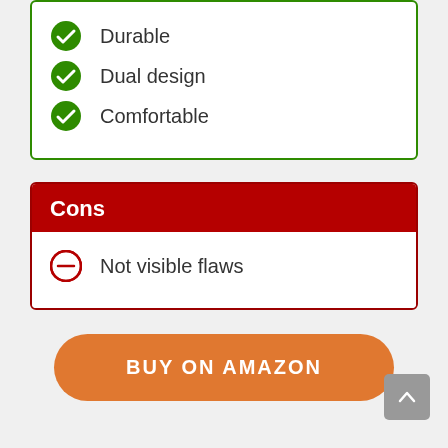Durable
Dual design
Comfortable
Cons
Not visible flaws
BUY ON AMAZON